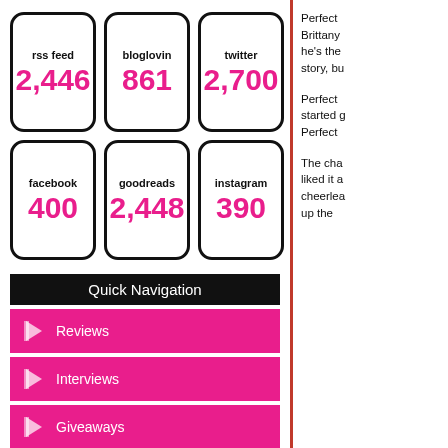[Figure (infographic): Social media follower counts in rounded-rectangle boxes: rss feed 2,446 | bloglovin 861 | twitter 2,700 | facebook 400 | goodreads 2,448 | instagram 390]
Quick Navigation
Reviews
Interviews
Giveaways
Book Hauls
Perfect ... Brittany ... he's the ... story, bu...
Perfect ... started g... Perfect ...
The cha... liked it a... cheerlea... up the...